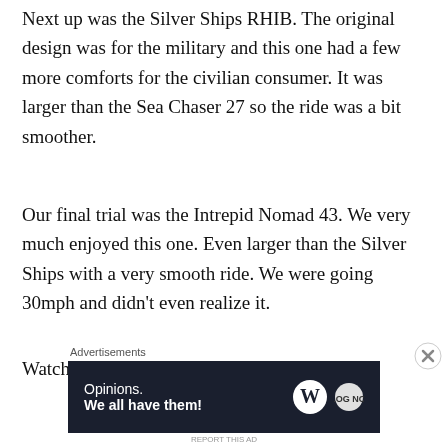Next up was the Silver Ships RHIB. The original design was for the military and this one had a few more comforts for the civilian consumer. It was larger than the Sea Chaser 27 so the ride was a bit smoother.
Our final trial was the Intrepid Nomad 43. We very much enjoyed this one. Even larger than the Silver Ships with a very smooth ride. We were going 30mph and didn't even realize it.
Watch the adventure here:
[Figure (other): Advertisement banner: dark navy background with text 'Opinions. We all have them!' and WordPress logo and another circular logo on the right. Labeled 'Advertisements' above.]